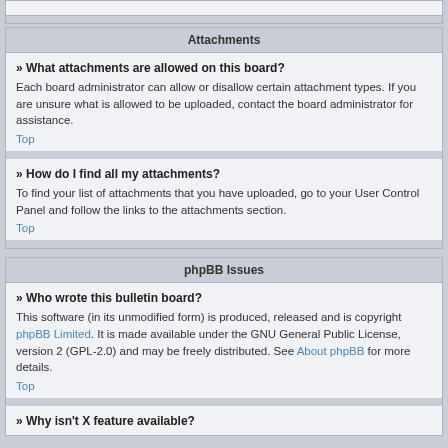Attachments
» What attachments are allowed on this board?
Each board administrator can allow or disallow certain attachment types. If you are unsure what is allowed to be uploaded, contact the board administrator for assistance.
Top
» How do I find all my attachments?
To find your list of attachments that you have uploaded, go to your User Control Panel and follow the links to the attachments section.
Top
phpBB Issues
» Who wrote this bulletin board?
This software (in its unmodified form) is produced, released and is copyright phpBB Limited. It is made available under the GNU General Public License, version 2 (GPL-2.0) and may be freely distributed. See About phpBB for more details.
Top
» Why isn't X feature available?